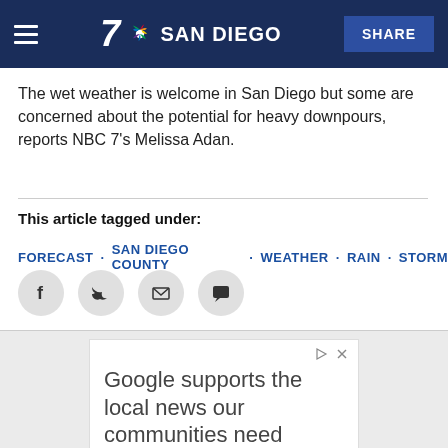7 SAN DIEGO  SHARE
The wet weather is welcome in San Diego but some are concerned about the potential for heavy downpours, reports NBC 7's Melissa Adan.
This article tagged under:
FORECAST · SAN DIEGO COUNTY · WEATHER · RAIN · STORM
[Figure (infographic): Social share icons: Facebook, Twitter, Email, Comment — each in a grey circle]
[Figure (infographic): Google ad banner reading: Google supports the local news our communities need]